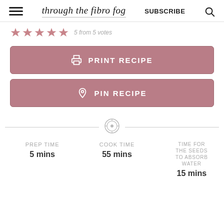through the fibro fog | SUBSCRIBE
5 from 5 votes
PRINT RECIPE
PIN RECIPE
PREP TIME 5 mins | COOK TIME 55 mins | TIME FOR THE SEEDS TO ABSORB WATER 15 mins